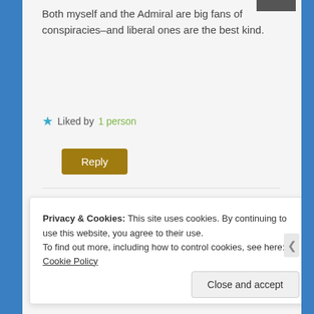[Figure (photo): Small avatar image partially visible at top right corner]
Both myself and the Admiral are big fans of conspiracies–and liberal ones are the best kind.
★ Liked by 1 person
Reply (button)
ansumani
December 9, 2016
[Figure (photo): Pink flower avatar for ansumani]
ha ha. Brandon is such a wonderful kid.
Privacy & Cookies: This site uses cookies. By continuing to use this website, you agree to their use.
To find out more, including how to control cookies, see here: Cookie Policy
Close and accept